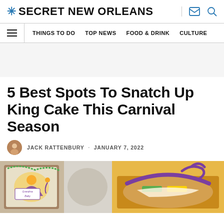✳ SECRET NEW ORLEANS
THINGS TO DO  TOP NEWS  FOOD & DRINK  CULTURE
5 Best Spots To Snatch Up King Cake This Carnival Season
JACK RATTENBURY · JANUARY 7, 2022
[Figure (photo): Two king cake images side by side: left shows illustrated artwork of a king cake box with Mardi Gras figures; right shows a colorful king cake with purple, green and gold decorations.]